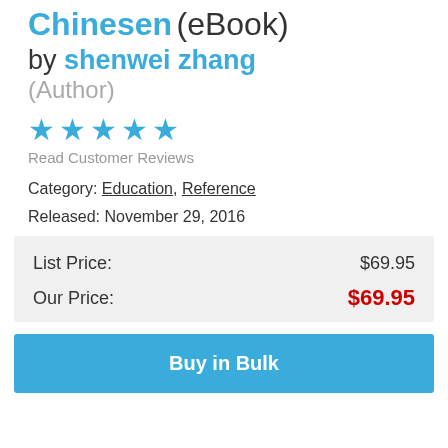Chinesen (eBook)
by shenwei zhang (Author)
[Figure (other): Five blue star rating icons]
Read Customer Reviews
Category: Education, Reference
Released: November 29, 2016
| List Price: | $69.95 |
| Our Price: | $69.95 |
Buy in Bulk